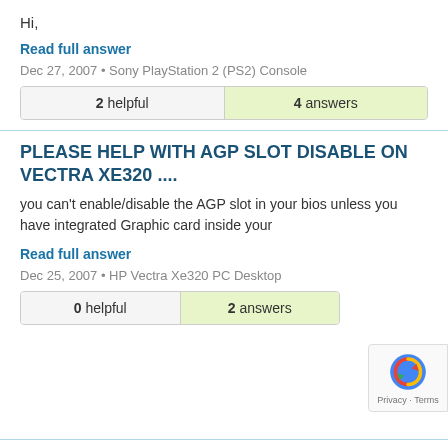Hi,
Read full answer
Dec 27, 2007 • Sony PlayStation 2 (PS2) Console
| 2 helpful | 4 answers |
PLEASE HELP WITH AGP SLOT DISABLE ON VECTRA XE320 ....
you can't enable/disable the AGP slot in your bios unless you have integrated Graphic card inside your
Read full answer
Dec 25, 2007 • HP Vectra Xe320 PC Desktop
| 0 helpful | 2 answers |